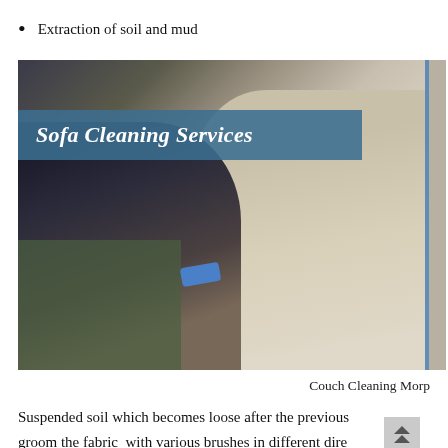Extraction of soil and mud
[Figure (photo): A person cleaning a sofa/couch with a blue sponge. The image shows a hand pressing a blue cleaning tool against a beige upholstered sofa surface, with a dark green carpet visible in the background. An overlay banner reads 'Sofa Cleaning Services' in white italic bold text on a teal/blue background.]
Couch Cleaning Morp
Suspended soil which becomes loose after the previous groom the fabric  with various brushes in different dire